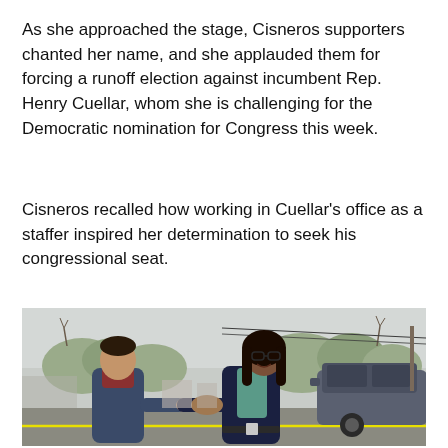As she approached the stage, Cisneros supporters chanted her name, and she applauded them for forcing a runoff election against incumbent Rep. Henry Cuellar, whom she is challenging for the Democratic nomination for Congress this week.
Cisneros recalled how working in Cuellar's office as a staffer inspired her determination to seek his congressional seat.
[Figure (photo): Two people shaking hands outdoors on a parking lot. On the left is a man in a dark blue fleece jacket. On the right is a woman with long dark hair wearing glasses, a teal shirt, and a dark blazer. A dark SUV and bare trees are visible in the background.]